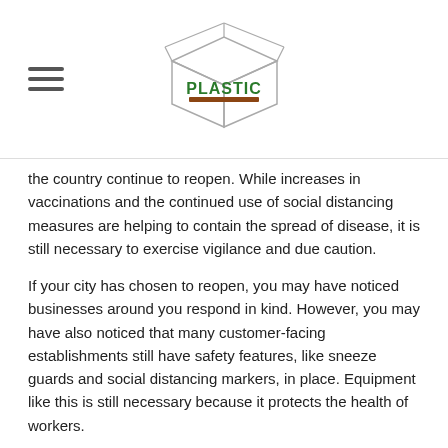PLASTIC [logo with hamburger menu]
the country continue to reopen. While increases in vaccinations and the continued use of social distancing measures are helping to contain the spread of disease, it is still necessary to exercise vigilance and due caution.
If your city has chosen to reopen, you may have noticed businesses around you respond in kind. However, you may have also noticed that many customer-facing establishments still have safety features, like sneeze guards and social distancing markers, in place. Equipment like this is still necessary because it protects the health of workers.
Protecting Workers Should be a Priority
Consumers have a choice about where they go and how they might conduct errands. They may only need to visit a bank or grocery a few minutes at a time. The people who work at these location have such a luxury. Employees of a business, especially custo facing and customer service positions, are there the majority of